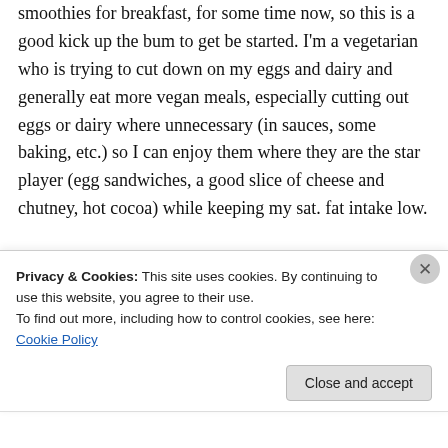smoothies for breakfast, for some time now, so this is a good kick up the bum to get be started. I'm a vegetarian who is trying to cut down on my eggs and dairy and generally eat more vegan meals, especially cutting out eggs or dairy where unnecessary (in sauces, some baking, etc.) so I can enjoy them where they are the star player (egg sandwiches, a good slice of cheese and chutney, hot cocoa) while keeping my sat. fat intake low.
Anyway, I'm wanting to try to detox a bit, as I'm
Privacy & Cookies: This site uses cookies. By continuing to use this website, you agree to their use.
To find out more, including how to control cookies, see here: Cookie Policy
Close and accept